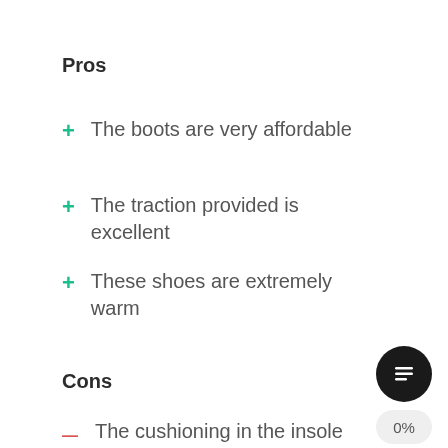Pros
+ The boots are very affordable
+ The traction provided is excellent
+ These shoes are extremely warm
Cons
— The cushioning in the insole could be improved